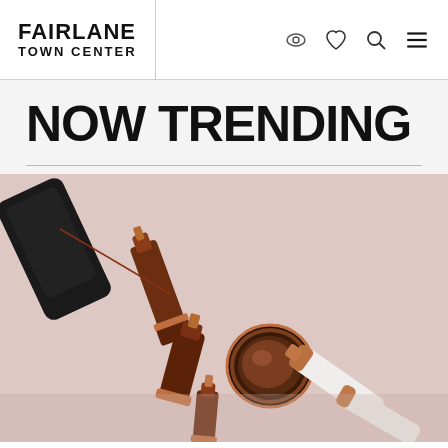FAIRLANE TOWN CENTER
NOW TRENDING
[Figure (photo): Flatlay photo of luxury beauty/cosmetics products on a pink background, including dark amber glass perfume bottles, a round compact mirror, a white cream tube, and a phone, with rose gold metallic accents.]